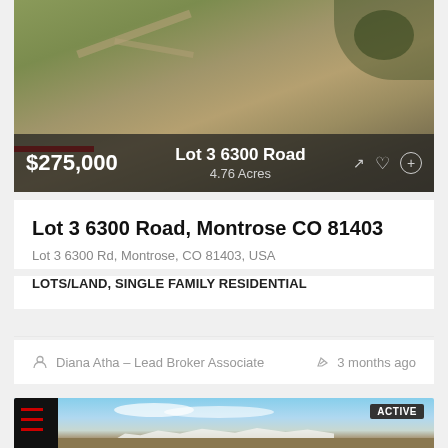[Figure (photo): Aerial/drone view of a land parcel with dirt roads through scrubby desert vegetation. Overlay bar shows price $275,000, property name 'Lot 3 6300 Road', and '4.76 Acres'.]
Lot 3 6300 Road, Montrose CO 81403
Lot 3 6300 Rd, Montrose, CO 81403, USA
LOTS/LAND, SINGLE FAMILY RESIDENTIAL
Diana Atha – Lead Broker Associate
3 months ago
[Figure (photo): Landscape photo showing mountains with snow-capped peaks under a partly cloudy sky. ACTIVE badge in top right corner. Dark sidebar on left with red horizontal lines.]